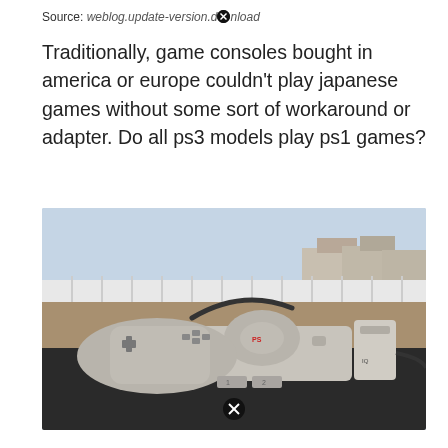Source: weblog.update-version.download
Traditionally, game consoles bought in america or europe couldn't play japanese games without some sort of workaround or adapter. Do all ps3 models play ps1 games?
[Figure (photo): A PlayStation 1 console with a controller and memory card accessory placed on a dark surface outdoors, with a white picket fence and suburban background visible.]